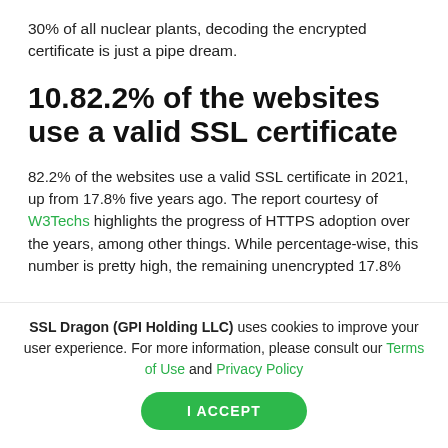30% of all nuclear plants, decoding the encrypted certificate is just a pipe dream.
10.82.2% of the websites use a valid SSL certificate
82.2% of the websites use a valid SSL certificate in 2021, up from 17.8% five years ago. The report courtesy of W3Techs highlights the progress of HTTPS adoption over the years, among other things. While percentage-wise, this number is pretty high, the remaining unencrypted 17.8%
SSL Dragon (GPI Holding LLC) uses cookies to improve your user experience. For more information, please consult our Terms of Use and Privacy Policy
I ACCEPT